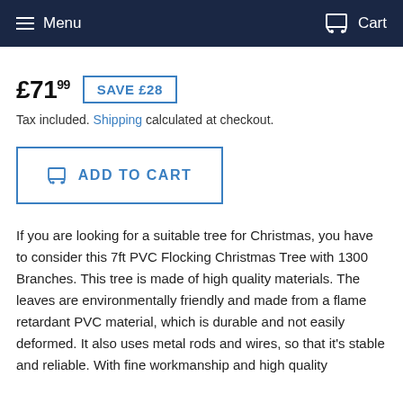Menu   Cart
£71.99  SAVE £28
Tax included. Shipping calculated at checkout.
ADD TO CART
If you are looking for a suitable tree for Christmas, you have to consider this 7ft PVC Flocking Christmas Tree with 1300 Branches. This tree is made of high quality materials. The leaves are environmentally friendly and made from a flame retardant PVC material, which is durable and not easily deformed. It also uses metal rods and wires, so that it's stable and reliable. With fine workmanship and high quality